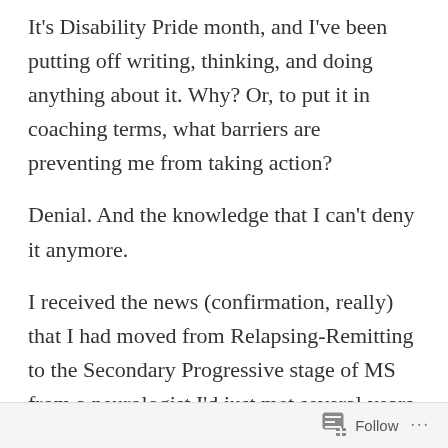It's Disability Pride month, and I've been putting off writing, thinking, and doing anything about it. Why? Or, to put it in coaching terms, what barriers are preventing me from taking action?
Denial. And the knowledge that I can't deny it anymore.
I received the news (confirmation, really) that I had moved from Relapsing-Remitting to the Secondary Progressive stage of MS from a neurologist I'd just met several years ago. I was gobsmacked in spite of a rational corner of my
Follow